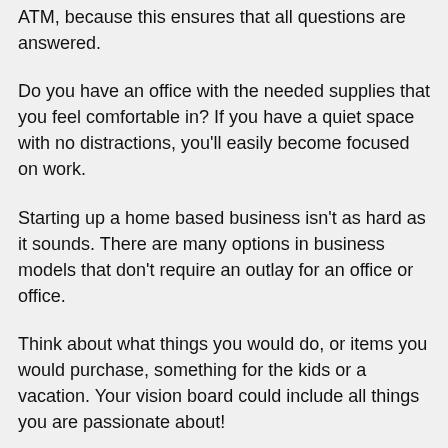ATM, because this ensures that all questions are answered.
Do you have an office with the needed supplies that you feel comfortable in? If you have a quiet space with no distractions, you'll easily become focused on work.
Starting up a home based business isn't as hard as it sounds. There are many options in business models that don't require an outlay for an office or office.
Think about what things you would do, or items you would purchase, something for the kids or a vacation. Your vision board could include all things you are passionate about!
Don't mix your personal household chores with your work from home business time!